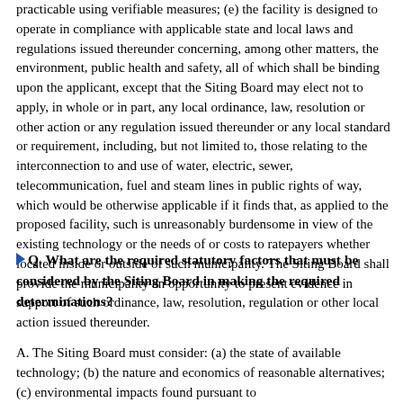practicable using verifiable measures; (e) the facility is designed to operate in compliance with applicable state and local laws and regulations issued thereunder concerning, among other matters, the environment, public health and safety, all of which shall be binding upon the applicant, except that the Siting Board may elect not to apply, in whole or in part, any local ordinance, law, resolution or other action or any regulation issued thereunder or any local standard or requirement, including, but not limited to, those relating to the interconnection to and use of water, electric, sewer, telecommunication, fuel and steam lines in public rights of way, which would be otherwise applicable if it finds that, as applied to the proposed facility, such is unreasonably burdensome in view of the existing technology or the needs of or costs to ratepayers whether located inside or outside of such municipality. The Siting Board shall provide the municipality an opportunity to present evidence in support of such ordinance, law, resolution, regulation or other local action issued thereunder.
Q. What are the required statutory factors that must be considered by the Siting Board in making the required determinations?
A. The Siting Board must consider: (a) the state of available technology; (b) the nature and economics of reasonable alternatives; (c) environmental impacts found pursuant to